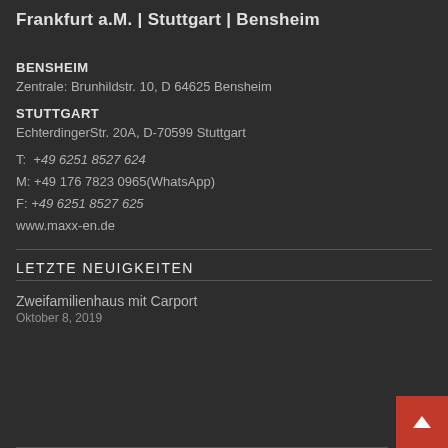Frankfurt a.M. | Stuttgart | Bensheim
BENSHEIM
Zentrale: Brunhildstr. 10, D 64625 Bensheim
STUTTGART
EchterdingerStr. 20A, D-70599 Stuttgart
T:  +49 6251 8527 624
M: +49 176 7823 0965(WhatsApp)
F:  +49 6251 8527 625
www.maxx-en.de
LETZTE NEUIGKEITEN
Zweifamilienhaus mit Carport
Oktober 8, 2019